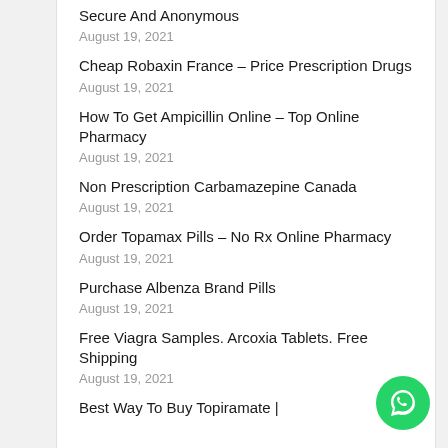Secure And Anonymous
August 19, 2021
Cheap Robaxin France – Price Prescription Drugs
August 19, 2021
How To Get Ampicillin Online – Top Online Pharmacy
August 19, 2021
Non Prescription Carbamazepine Canada
August 19, 2021
Order Topamax Pills – No Rx Online Pharmacy
August 19, 2021
Purchase Albenza Brand Pills
August 19, 2021
Free Viagra Samples. Arcoxia Tablets. Free Shipping
August 19, 2021
Best Way To Buy Topiramate |